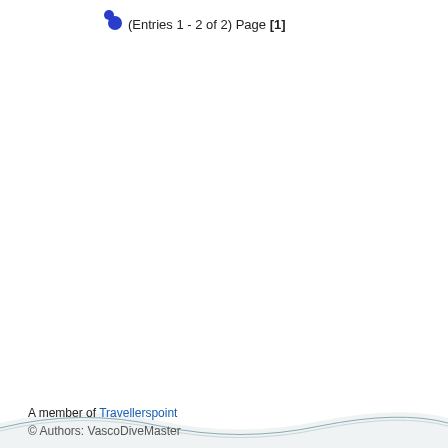(Entries 1 - 2 of 2) Page [1]
A member of Travellerspoint
© Authors: VascoDiveMaster